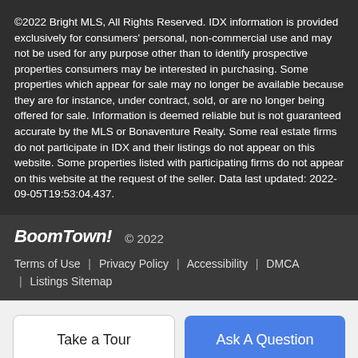©2022 Bright MLS, All Rights Reserved. IDX information is provided exclusively for consumers' personal, non-commercial use and may not be used for any purpose other than to identify prospective properties consumers may be interested in purchasing. Some properties which appear for sale may no longer be available because they are for instance, under contract, sold, or are no longer being offered for sale. Information is deemed reliable but is not guaranteed accurate by the MLS or Bonaventure Realty. Some real estate firms do not participate in IDX and their listings do not appear on this website. Some properties listed with participating firms do not appear on this website at the request of the seller. Data last updated: 2022-09-05T19:53:04.437.
BoomTown! © 2022 | Terms of Use | Privacy Policy | Accessibility | DMCA | Listings Sitemap
Take a Tour | Ask A Question